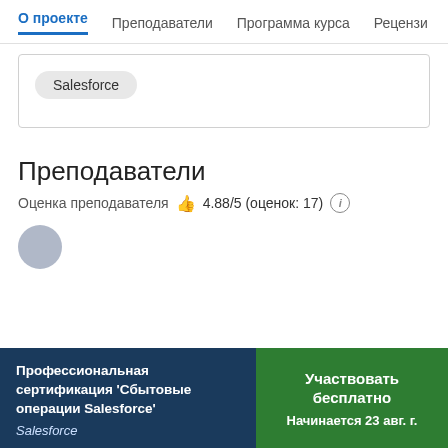О проекте   Преподаватели   Программа курса   Рецензии
Salesforce
Преподаватели
Оценка преподавателя 👍 4.88/5 (оценок: 17) ℹ
Профессиональная сертификация 'Сбытовые операции Salesforce'
Salesforce
Участвовать бесплатно
Начинается 23 авг. г.